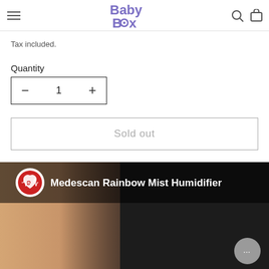Baby Box - navigation header with hamburger menu, logo, search and cart icons
Tax included.
Quantity
- 1 +
Sold out
[Figure (screenshot): Video thumbnail showing Medescan Rainbow Mist Humidifier with a channel icon (red heart with 'e' letter) and white text overlay on a dark background with a person wearing black clothing visible]